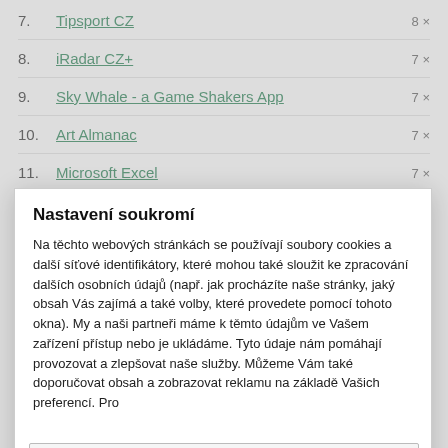7. Tipsport CZ 8×
8. iRadar CZ+ 7×
9. Sky Whale - a Game Shakers App 7×
10. Art Almanac 7×
11. Microsoft Excel 7×
Nastavení soukromí
Na těchto webových stránkách se používají soubory cookies a další síťové identifikátory, které mohou také sloužit ke zpracování dalších osobních údajů (např. jak procházíte naše stránky, jaký obsah Vás zajímá a také volby, které provedete pomocí tohoto okna). My a naši partneři máme k těmto údajům ve Vašem zařízení přístup nebo je ukládáme. Tyto údaje nám pomáhají provozovat a zlepšovat naše služby. Můžeme Vám také doporučovat obsah a zobrazovat reklamu na základě Vašich preferencí. Pro
Podrobné nastavení
Rozumím a přijímám